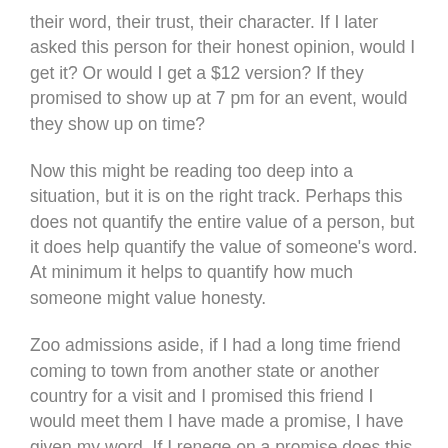their word, their trust, their character. If I later asked this person for their honest opinion, would I get it? Or would I get a $12 version? If they promised to show up at 7 pm for an event, would they show up on time?
Now this might be reading too deep into a situation, but it is on the right track. Perhaps this does not quantify the entire value of a person, but it does help quantify the value of someone's word. At minimum it helps to quantify how much someone might value honesty.
Zoo admissions aside, if I had a long time friend coming to town from another state or another country for a visit and I promised this friend I would meet them I have made a promise, I have given my word. If I renege on a promise does this not de-value my word in the mind of my friend? I would argue this devalues my name a great deal! In life friendship might be one of the most valuable things we can experience. If we do not place value in relationships, they